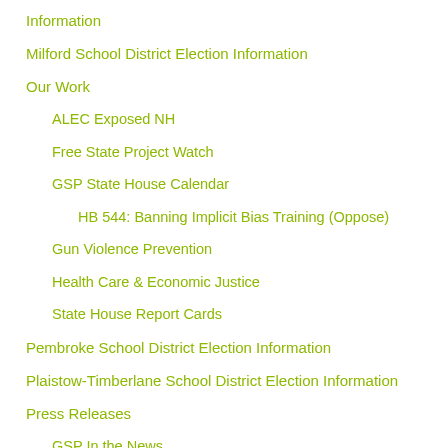Information
Milford School District Election Information
Our Work
ALEC Exposed NH
Free State Project Watch
GSP State House Calendar
HB 544: Banning Implicit Bias Training (Oppose)
Gun Violence Prevention
Health Care & Economic Justice
State House Report Cards
Pembroke School District Election Information
Plaistow-Timberlane School District Election Information
Press Releases
GSP In the News
Press Releases